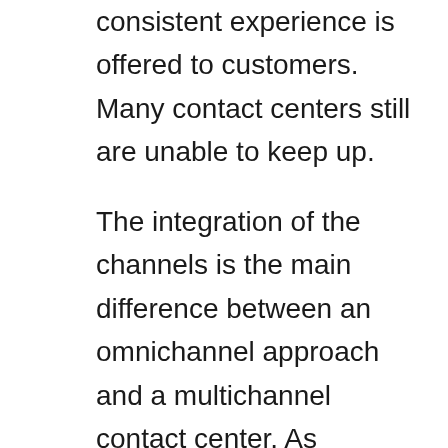consistent experience is offered to customers. Many contact centers still are unable to keep up.
The integration of the channels is the main difference between an omnichannel approach and a multichannel contact center. As channels are added, contact centers tend to assign agents to each channel. They are required to resolve issues quickly. The